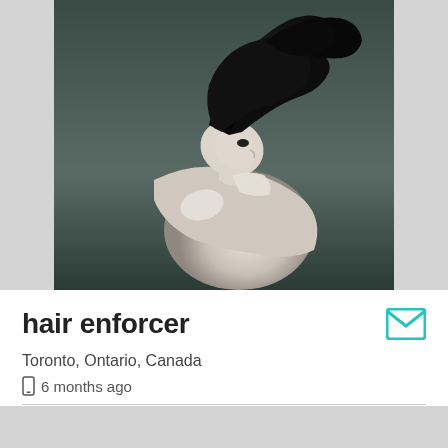[Figure (photo): Black and white artistic portrait photo of a woman bending forward with dramatic dark hair styled upward, upper body visible, dark background]
hair enforcer
Toronto, Ontario, Canada
6 months ago
Details